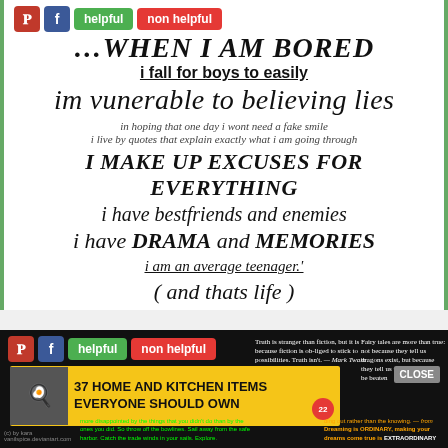[Figure (screenshot): Top screenshot of a webpage showing a motivational/teen quote image with Pinterest and Facebook share buttons, 'helpful' and 'non helpful' rating buttons, overlaid on a white background with green side borders. Text reads: 'WHEN I AM BORED / i fall for boys to easily / im vunerable to believing lies / in hoping that one day i wont need a fake smile / i live by quotes that explain exactly what i am going through / I MAKE UP EXCUSES FOR EVERYTHING / i have bestfriends and enemies / i have DRAMA and MEMORIES / i am an average teenager.' / ( and thats life )]
[Figure (screenshot): Bottom screenshot showing another webpage with quote collage on dark background, Pinterest/Facebook toolbar, 'helpful'/'non helpful' buttons, and an ad banner for '37 HOME AND KITCHEN ITEMS EVERYONE SHOULD OWN' with a CLOSE button and yellow background.]